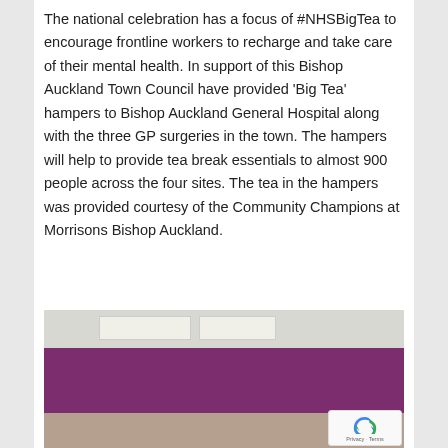The national celebration has a focus of #NHSBigTea to encourage frontline workers to recharge and take care of their mental health. In support of this Bishop Auckland Town Council have provided 'Big Tea' hampers to Bishop Auckland General Hospital along with the three GP surgeries in the town. The hampers will help to provide tea break essentials to almost 900 people across the four sites. The tea in the hampers was provided courtesy of the Community Champions at Morrisons Bishop Auckland.
[Figure (photo): Interior photo of what appears to be a medical or community facility with a purple accent wall, recessed ceiling lights, and a light-colored ceiling. The lower portion shows part of a floor area.]